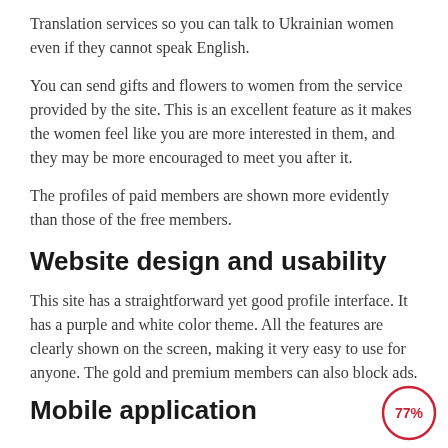Translation services so you can talk to Ukrainian women even if they cannot speak English.
You can send gifts and flowers to women from the service provided by the site. This is an excellent feature as it makes the women feel like you are more interested in them, and they may be more encouraged to meet you after it.
The profiles of paid members are shown more evidently than those of the free members.
Website design and usability
This site has a straightforward yet good profile interface. It has a purple and white color theme. All the features are clearly shown on the screen, making it very easy to use for anyone. The gold and premium members can also block ads.
Mobile application
[Figure (other): A circular badge showing 77% in red text with a red circle outline]